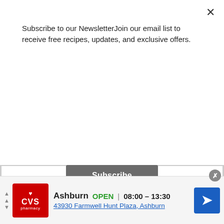Subscribe to our NewsletterJoin our email list to receive free recipes, updates, and exclusive offers.
Subscribe
Tried this recipe?
Mention @noubesscaribbean or tag #noubesscaribbean!
Nutrition info is automatically generated and provided as a courtesy and as an estimate only.
[Figure (illustration): A tag/label icon in dark gray]
Ti... (partially visible text)
Ashburn OPEN 08:00 – 13:30 43930 Farmwell Hunt Plaza, Ashburn